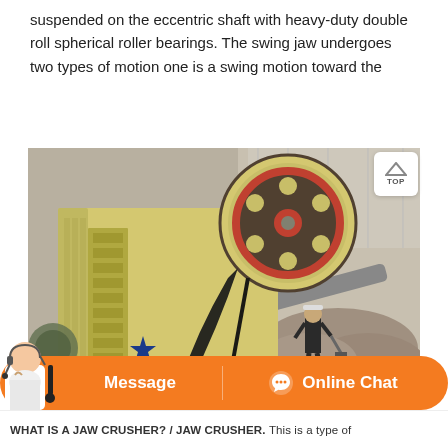suspended on the eccentric shaft with heavy-duty double roll spherical roller bearings. The swing jaw undergoes two types of motion one is a swing motion toward the
[Figure (photo): Photograph of a large industrial jaw crusher machine in a factory or quarry setting. The machine is yellow/beige with a large black belt pulley visible at the top right. A worker in dark clothing is standing next to the machine for scale. The background shows a conveyor belt and piles of crushed stone/aggregate inside a large industrial building.]
WHAT IS A JAW CRUSHER? / JAW CRUSHER. This is a type of